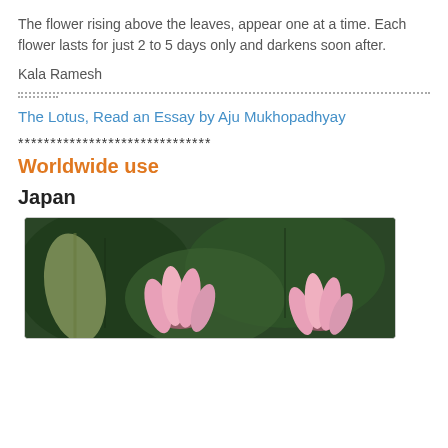The flower rising above the leaves, appear one at a time. Each flower lasts for just 2 to 5 days only and darkens soon after.
Kala Ramesh
The Lotus, Read an Essay by Aju Mukhopadhyay
******************************
Worldwide use
Japan
[Figure (photo): Pink lotus flowers with green leaves in background]